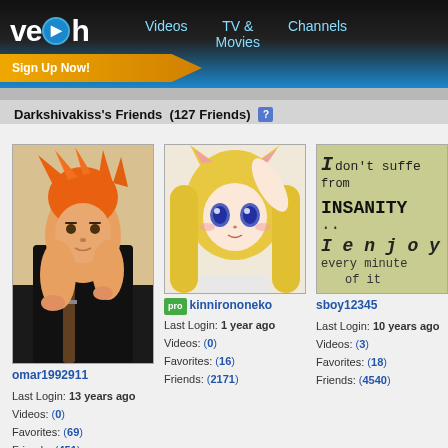[Figure (screenshot): Veoh website header with logo, navigation links (Videos, TV & Movies, Channels), and Sign Up Now button]
Darkshivakiss's Friends  (127 Friends)
[Figure (photo): Anime character - orange haired male fighter from Bleach manga, user omar1992911]
omar1992911
Last Login: 13 years ago
Videos: (0)
Favorites: (69)
Friends: (451)
[Figure (photo): Anime character - blonde cat girl with blue eyes and cat ears, pro user kinnirononeko]
pro kinnirononeko
Last Login: 1 year ago
Videos: (0)
Favorites: (16)
Friends: (2171)
[Figure (photo): Text image reading: I don't suffer from INSANITY.. I enjoy every minute of it]
sboy12345
Last Login: 10 years ago
Videos: (3)
Favorites: (18)
Friends: (4540)